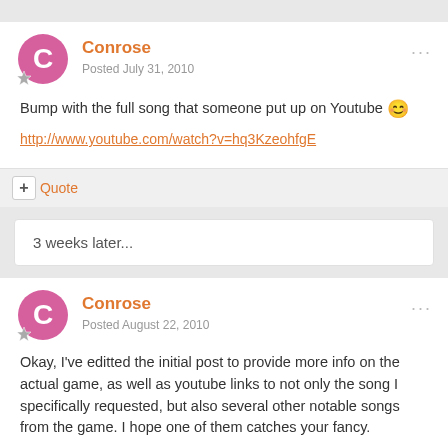Conrose
Posted July 31, 2010
Bump with the full song that someone put up on Youtube 😊
http://www.youtube.com/watch?v=hq3KzeohfgE
+ Quote
3 weeks later...
Conrose
Posted August 22, 2010
Okay, I've editted the initial post to provide more info on the actual game, as well as youtube links to not only the song I specifically requested, but also several other notable songs from the game. I hope one of them catches your fancy.